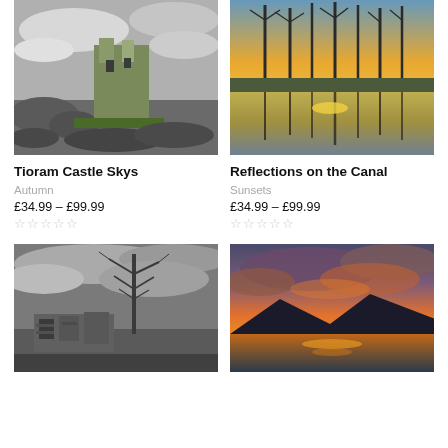[Figure (photo): Tioram Castle on a rocky outcrop with dramatic cloudy sky, green mossy ruins, black and white with selective colour]
[Figure (photo): Reflections of bare trees at sunset reflected in a still canal, vivid orange and yellow sky]
Tioram Castle Skys
Autumn
£34.99 – £99.99
Reflections on the Canal
Sunsets
£34.99 – £99.99
[Figure (photo): Black and white photo of ruined stone structure with bare tree against streaky sky]
[Figure (photo): Dramatic sunset over a loch with mountains silhouetted and vivid orange clouds]